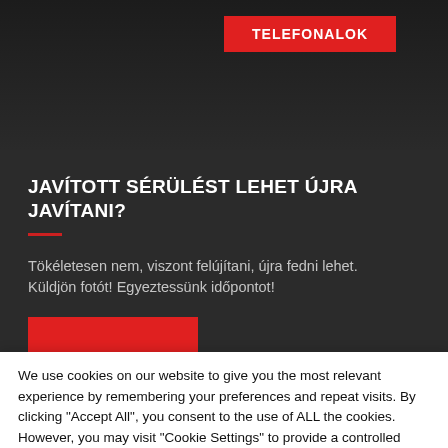TELEFONALOK
JAVÍTOTT SÉRÜLÉST LEHET ÚJRA JAVÍTANI?
Tökéletesen nem, viszont felújítani, újra fedni lehet. Küldjön fotót! Egyeztessünk időpontot!
We use cookies on our website to give you the most relevant experience by remembering your preferences and repeat visits. By clicking "Accept All", you consent to the use of ALL the cookies. However, you may visit "Cookie Settings" to provide a controlled consent.